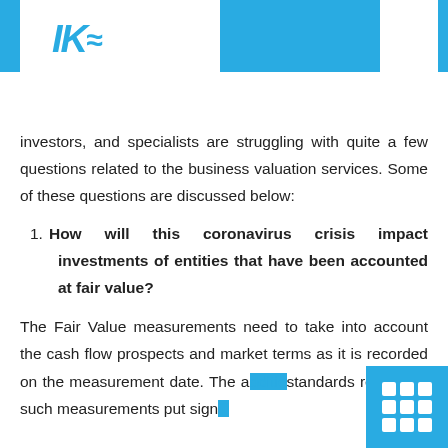investors, and specialists are struggling with quite a few questions related to the business valuation services. Some of these questions are discussed below:
1. How will this coronavirus crisis impact investments of entities that have been accounted at fair value?
The Fair Value measurements need to take into account the cash flow prospects and market terms as it is recorded on the measurement date. The additional standards regulating such measurements put sign…